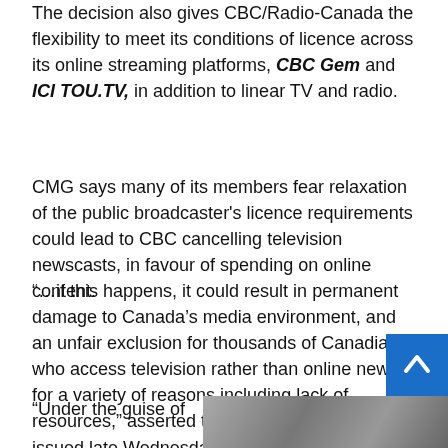The decision also gives CBC/Radio-Canada the flexibility to meet its conditions of licence across its online streaming platforms, CBC Gem and ICI TOU.TV, in addition to linear TV and radio.
CMG says many of its members fear relaxation of the public broadcaster's licence requirements could lead to CBC cancelling television newscasts, in favour of spending on online content.
“…if this happens, it could result in permanent damage to Canada’s media environment, and an unfair exclusion for thousands of Canadians who access television rather than online news, for a variety of reasons including lack of resources,” asserted the Guild, in a release issued late Wednesday.
“Under the guise of
[Figure (photo): Partial photo of a person, bottom right of page]